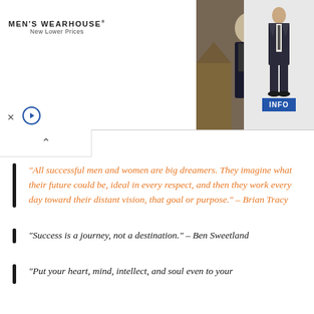[Figure (screenshot): Men's Wearhouse advertisement banner showing a couple in formal wear and a man in a suit, with an INFO button]
“All successful men and women are big dreamers. They imagine what their future could be, ideal in every respect, and then they work every day toward their distant vision, that goal or purpose.” – Brian Tracy
“Success is a journey, not a destination.” – Ben Sweetland
“Put your heart, mind, intellect, and soul even to your